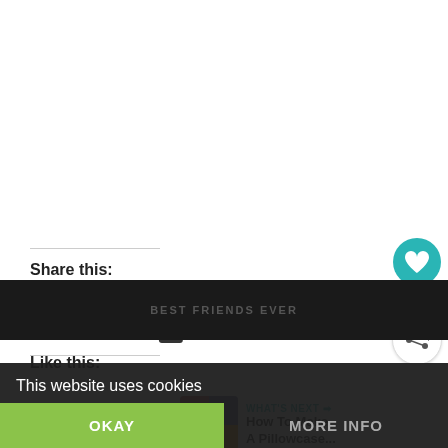Share this:
[Figure (infographic): Social share buttons: Twitter (blue circle), Facebook (blue circle), Pinterest (red circle with 2K+ badge), LinkedIn (blue circle)]
Like this:
[Figure (infographic): Right sidebar with teal heart button, count of 4, and share icon button]
[Figure (infographic): What's Next panel: colorful image thumbnail, label 'WHAT'S NEXT →', title 'How To Make A Pillowcase...']
This website uses cookies
OKAY
MORE INFO